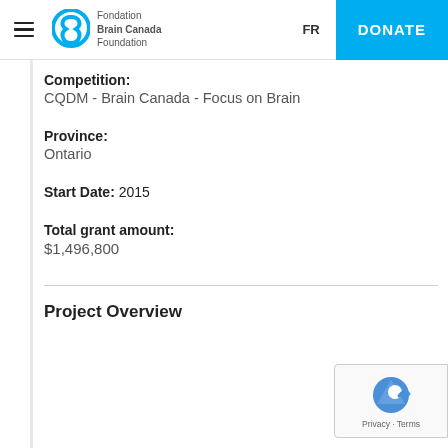Fondation Brain Canada Foundation – FR – DONATE
Competition:
CQDM - Brain Canada - Focus on Brain
Province:
Ontario
Start Date: 2015
Total grant amount:
$1,496,800
Project Overview